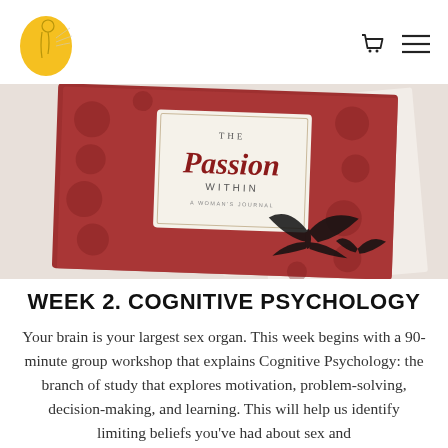Logo and navigation icons (cart, menu)
[Figure (photo): A red hardcover journal titled 'The Passion Within - A Woman's Journal' with floral and butterfly designs, lying on a white surface.]
WEEK 2. COGNITIVE PSYCHOLOGY
Your brain is your largest sex organ. This week begins with a 90-minute group workshop that explains Cognitive Psychology: the branch of study that explores motivation, problem-solving, decision-making, and learning. This will help us identify limiting beliefs you've had about sex and